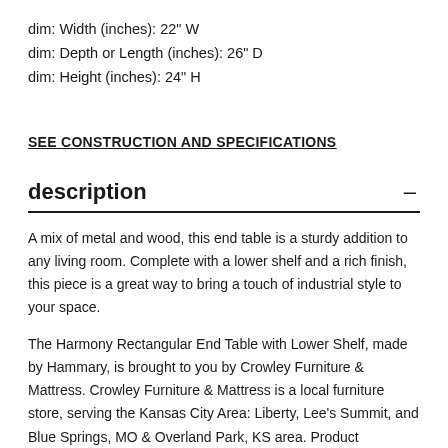dim: Width (inches): 22" W
dim: Depth or Length (inches): 26" D
dim: Height (inches): 24" H
SEE CONSTRUCTION AND SPECIFICATIONS
description
A mix of metal and wood, this end table is a sturdy addition to any living room. Complete with a lower shelf and a rich finish, this piece is a great way to bring a touch of industrial style to your space.
The Harmony Rectangular End Table with Lower Shelf, made by Hammary, is brought to you by Crowley Furniture & Mattress. Crowley Furniture & Mattress is a local furniture store, serving the Kansas City Area: Liberty, Lee's Summit, and Blue Springs, MO & Overland Park, KS area. Product availability may vary. Contact us for the